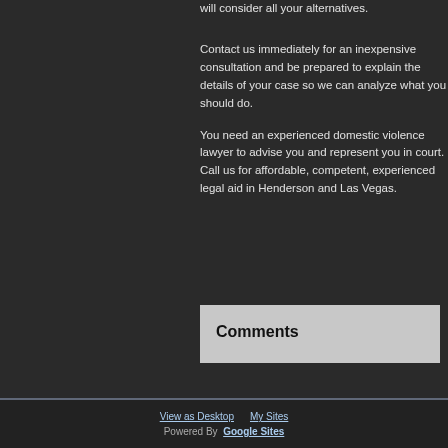will consider all your alternatives.
Contact us immediately for an inexpensive consultation and be prepared to explain the details of your case so we can analyze what you should do.
You need an experienced domestic violence lawyer to advise you and represent you in court.  Call us for affordable, competent, experienced legal aid in Henderson and Las Vegas.
Comments
View as Desktop   My Sites
Powered By  Google Sites